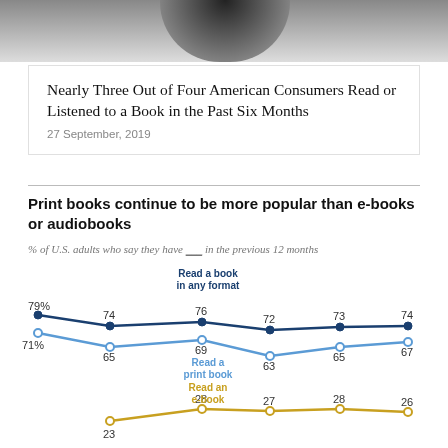[Figure (photo): Partial photo of a person, dark and grey tones, cropped at top]
Nearly Three Out of Four American Consumers Read or Listened to a Book in the Past Six Months
27 September, 2019
Print books continue to be more popular than e-books or audiobooks
% of U.S. adults who say they have ___ in the previous 12 months
[Figure (line-chart): Print books continue to be more popular than e-books or audiobooks]